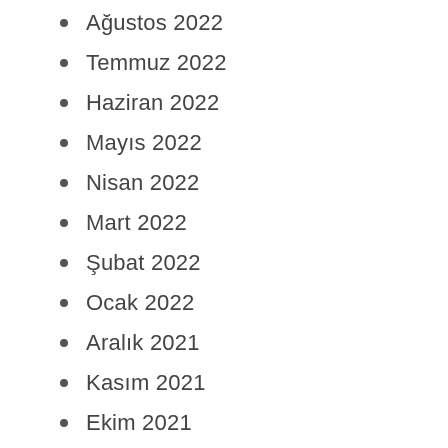Ağustos 2022
Temmuz 2022
Haziran 2022
Mayıs 2022
Nisan 2022
Mart 2022
Şubat 2022
Ocak 2022
Aralık 2021
Kasım 2021
Ekim 2021
Eylül 2021